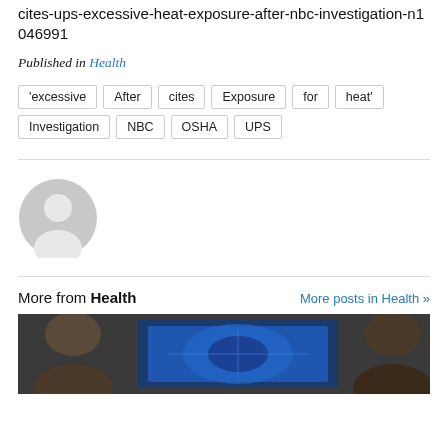cites-ups-excessive-heat-exposure-after-nbc-investigation-n1046991
Published in Health
'excessive
After
cites
Exposure
for
heat'
Investigation
NBC
OSHA
UPS
[Figure (illustration): Generic grey user avatar icon (silhouette of person in circle)]
More from Health   More posts in Health »
[Figure (photo): Two people looking at a screen with a blue medical/ultrasound image displayed]